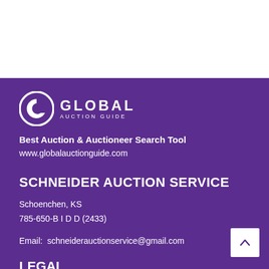[Figure (logo): Global Auction Guide logo with circular G icon and GLOBAL AUCTION GUIDE text]
Best Auction & Auctioneer Search Tool
www.globalauctionguide.com
SCHNEIDER AUCTION SERVICE
Schoenchen, KS
785-650-B I D D (2433)
Email:  schneiderauctionservice@gmail.com
LEGAL